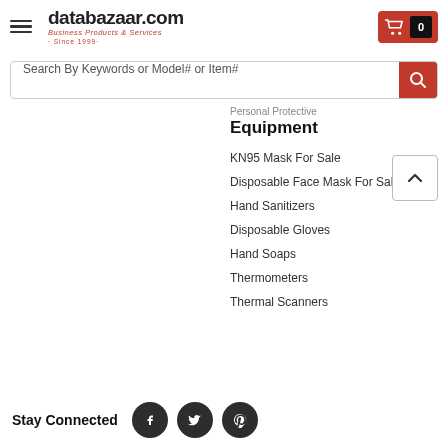[Figure (logo): databazaar.com logo with tagline 'Business Products & Services · Since 1999 ·']
[Figure (screenshot): Search bar with placeholder 'Search By Keywords or Model# or Item#' and red search button]
Personal Protective
Equipment
KN95 Mask For Sale
Disposable Face Mask For Sale
Hand Sanitizers
Disposable Gloves
Hand Soaps
Thermometers
Thermal Scanners
Stay Connected